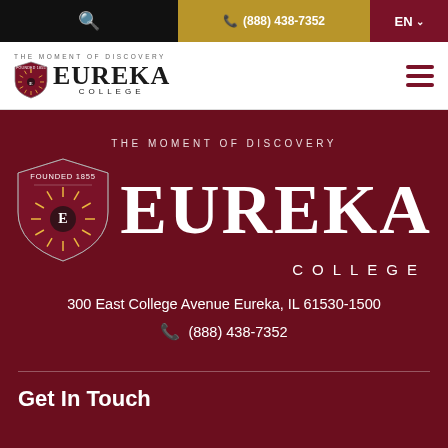🔍  (888) 438-7352  EN
[Figure (logo): Eureka College logo with shield, tagline 'THE MOMENT OF DISCOVERY', name 'EUREKA COLLEGE' in header]
[Figure (logo): Large Eureka College logo with shield on dark crimson background, tagline 'THE MOMENT OF DISCOVERY', 'EUREKA' in large white letters, 'COLLEGE' below]
300 East College Avenue Eureka, IL 61530-1500
(888) 438-7352
Get In Touch